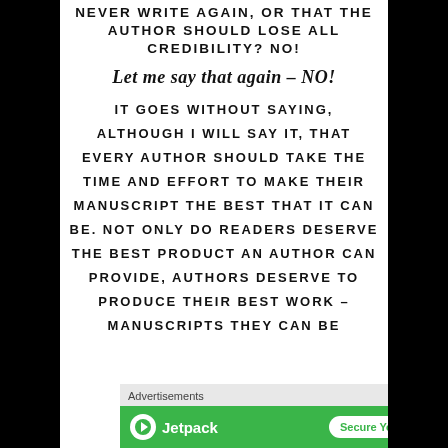NEVER WRITE AGAIN, OR THAT THE AUTHOR SHOULD LOSE ALL CREDIBILITY? NO!
Let me say that again – NO!
IT GOES WITHOUT SAYING, ALTHOUGH I WILL SAY IT, THAT EVERY AUTHOR SHOULD TAKE THE TIME AND EFFORT TO MAKE THEIR MANUSCRIPT THE BEST THAT IT CAN BE. NOT ONLY DO READERS DESERVE THE BEST PRODUCT AN AUTHOR CAN PROVIDE, AUTHORS DESERVE TO PRODUCE THEIR BEST WORK – MANUSCRIPTS THEY CAN BE
[Figure (infographic): Jetpack advertisement banner with green background. Shows Jetpack logo on left and 'Secure Your Site' button on right. Above banner: 'Advertisements' label.]